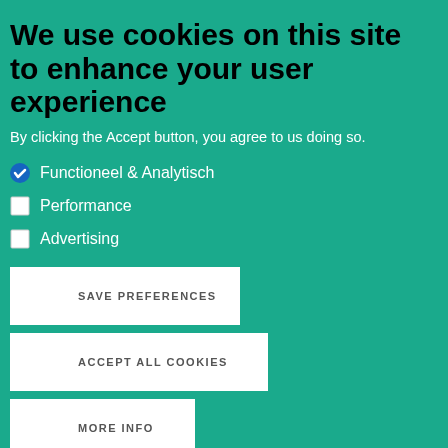We use cookies on this site to enhance your user experience
By clicking the Accept button, you agree to us doing so.
Functioneel & Analytisch
Performance
Advertising
SAVE PREFERENCES
ACCEPT ALL COOKIES
MORE INFO